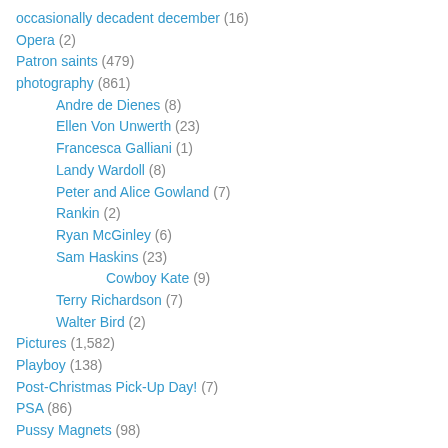occasionally decadent december (16)
Opera (2)
Patron saints (479)
photography (861)
Andre de Dienes (8)
Ellen Von Unwerth (23)
Francesca Galliani (1)
Landy Wardoll (8)
Peter and Alice Gowland (7)
Rankin (2)
Ryan McGinley (6)
Sam Haskins (23)
Cowboy Kate (9)
Terry Richardson (7)
Walter Bird (2)
Pictures (1,582)
Playboy (138)
Post-Christmas Pick-Up Day! (7)
PSA (86)
Pussy Magnets (98)